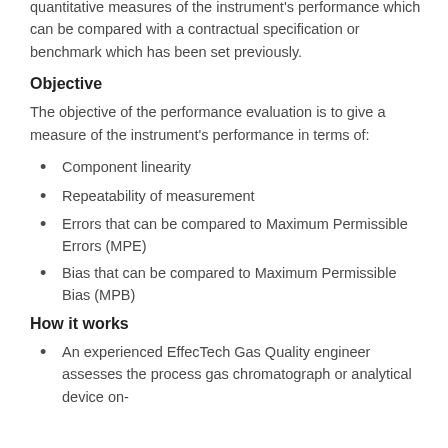Applying the standard gives you a quantitative measures of the instrument's performance which can be compared with a contractual specification or benchmark which has been set previously.
Objective
The objective of the performance evaluation is to give a measure of the instrument's performance in terms of:
Component linearity
Repeatability of measurement
Errors that can be compared to Maximum Permissible Errors (MPE)
Bias that can be compared to Maximum Permissible Bias (MPB)
How it works
An experienced EffecTech Gas Quality engineer assesses the process gas chromatograph or analytical device on-